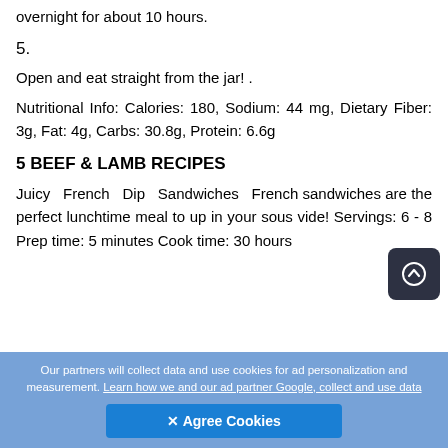overnight for about 10 hours.
5.
Open and eat straight from the jar! .
Nutritional Info: Calories: 180, Sodium: 44 mg, Dietary Fiber: 3g, Fat: 4g, Carbs: 30.8g, Protein: 6.6g
5 BEEF & LAMB RECIPES
Juicy French Dip Sandwiches French sandwiches are the perfect lunchtime meal to up in your sous vide! Servings: 6 - 8 Prep time: 5 minutes Cook time: 30 hours
Our partners will collect data and use cookies for ad personalization and measurement. Learn how we and our ad partner Google, collect and use data
✕ Agree Cookies